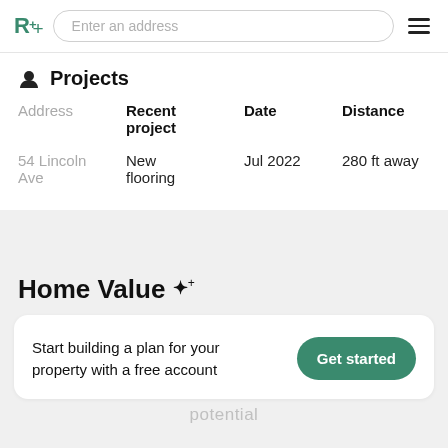R+ [logo] | Enter an address [search] | [hamburger menu]
Projects
| Address | Recent project | Date | Distance |
| --- | --- | --- | --- |
| 54 Lincoln Ave | New flooring | Jul 2022 | 280 ft away |
Home Value
Start building a plan for your property with a free account
Get started
potential